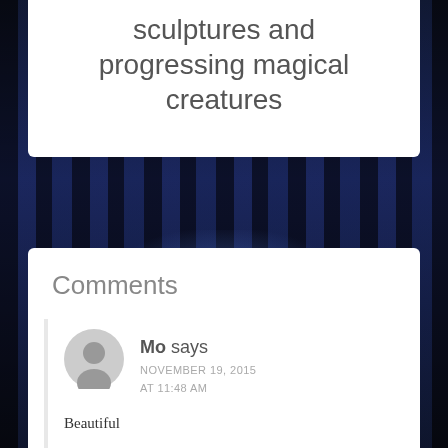sculptures and progressing magical creatures
Comments
Mo says
NOVEMBER 19, 2015
AT 11:48 AM
Beautiful
REPLY